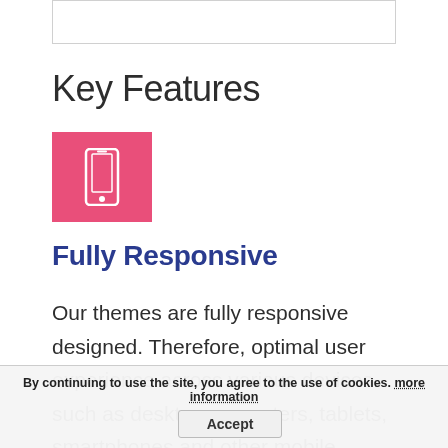[Figure (other): Empty white box with border at top of page]
Key Features
[Figure (illustration): Pink/red square icon box containing a white smartphone icon]
Fully Responsive
Our themes are fully responsive designed. Therefore, optimal user experience across various devices such as desktop computers, tablets, smartphones and other mobile devices is inevitable.
By continuing to use the site, you agree to the use of cookies. more information  Accept